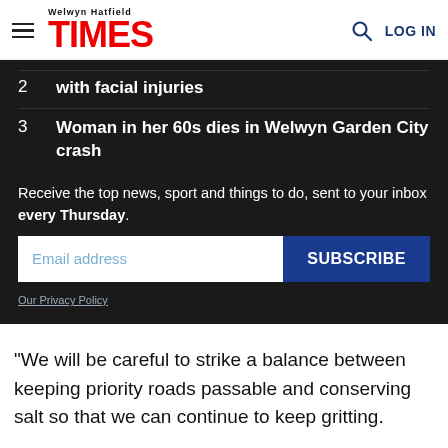Welwyn Hatfield TIMES | LOG IN
2  with facial injuries
3  Woman in her 60s dies in Welwyn Garden City crash
Receive the top news, sport and things to do, sent to your inbox every Thursday.
Email address  SUBSCRIBE
Our Privacy Policy
"We will be careful to strike a balance between keeping priority roads passable and conserving salt so that we can continue to keep gritting.